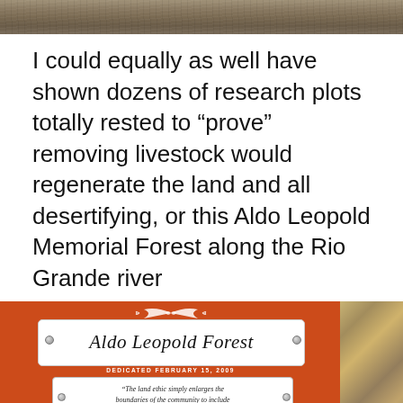[Figure (photo): Top portion of a photo showing dry, scrubby terrain with grasses and twigs]
I could equally as well have shown dozens of research plots totally rested to “prove” removing livestock would regenerate the land and all desertifying, or this Aldo Leopold Memorial Forest along the Rio Grande river
[Figure (photo): Photo of an orange Aldo Leopold Forest sign dedicated February 15, 2009 with a quote: 'The land ethic simply enlarges the boundaries of the community to include soils, waters, plants and animals, or collectively: the land.' -Aldo Leopold. Sponsor logos at the bottom including Middle Rio Grande Conservancy District, City of Albuquerque Open Space Division, Albuquerque Wildlife Federation, REI, Roots & Shoots. Rocky terrain visible on the right side.]